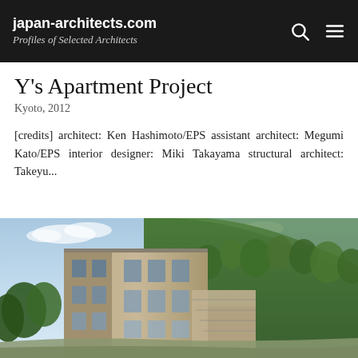japan-architects.com
Profiles of Selected Architects
Y's Apartment Project
Kyoto, 2012
[credits] architect: Ken Hashimoto/EPS assistant architect: Megumi Kato/EPS interior designer: Miki Takayama structural architect: Takeyu...
[Figure (photo): Architectural rendering/photo of a modern apartment building on a hillside in Kyoto, showing a contemporary structure with large windows and terraces against a green, forested hill background under a partly cloudy sky.]